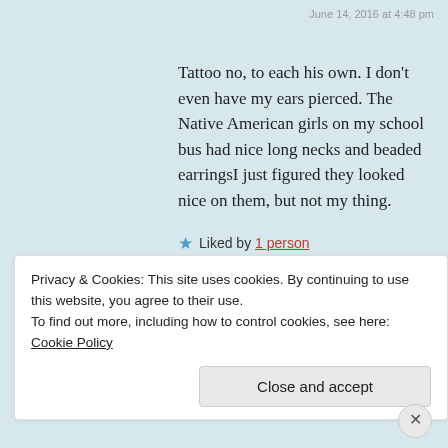June 14, 2016 at 4:48 pm
Tattoo no, to each his own. I don't even have my ears pierced. The Native American girls on my school bus had nice long necks and beaded earringsI just figured they looked nice on them, but not my thing.
★ Liked by 1 person
REPLY
[Figure (photo): Small avatar photo of a person with gray hair]
Pat said:
June 16, 2016 at 6:52 pm
Privacy & Cookies: This site uses cookies. By continuing to use this website, you agree to their use.
To find out more, including how to control cookies, see here: Cookie Policy
Close and accept